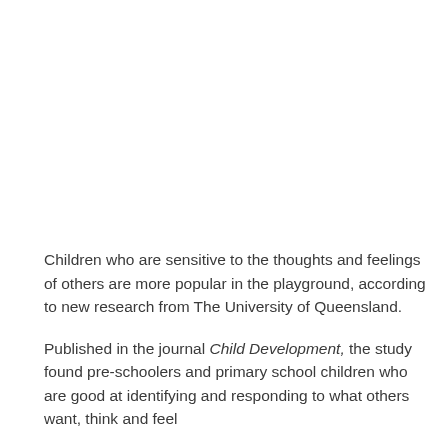Children who are sensitive to the thoughts and feelings of others are more popular in the playground, according to new research from The University of Queensland.
Published in the journal Child Development, the study found pre-schoolers and primary school children who are good at identifying and responding to what others want, think and feel